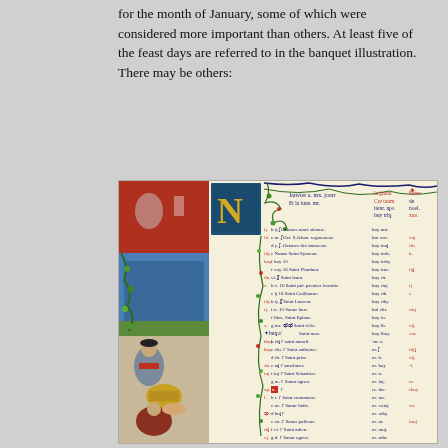for the month of January, some of which were considered more important than others. At least five of the feast days are referred to in the banquet illustration. There may be others:
[Figure (illustration): A medieval illuminated manuscript page showing a January calendar page with an ornate decorated initial letter and floral border, alongside a miniature painting depicting a banquet scene with figures in medieval dress. The calendar lists saints' feast days in Gothic script in blue and red, with Roman numerals for the day numbers.]